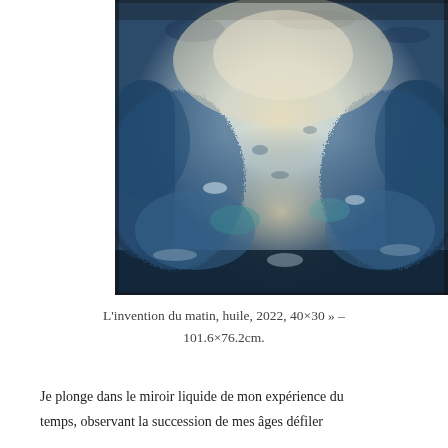[Figure (photo): Abstract painting in blues and creamy whites, showing a textured, swirling landscape or seascape. Blues dominate the lower and side portions while cream and light tones form a central lighter area. Rich impasto texture throughout.]
L'invention du matin, huile, 2022, 40×30 » – 101.6×76.2cm.
Je plonge dans le miroir liquide de mon expérience du temps, observant la succession de mes âges défiler